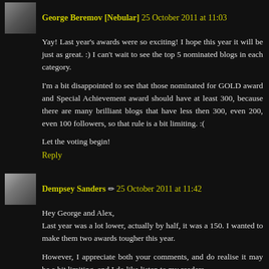George Beremov [Nebular] 25 October 2011 at 11:03
Yay! Last year's awards were so exciting! I hope this year it will be just as great. :) I can't wait to see the top 5 nominated blogs in each category.
I'm a bit disappointed to see that those nominated for GOLD award and Special Achievement award should have at least 300, because there are many brilliant blogs that have less then 300, even 200, even 100 followers, so that rule is a bit limiting. :(
Let the voting begin!
Reply
Dempsey Sanders ✏ 25 October 2011 at 11:42
Hey George and Alex,
Last year was a lot lower, actually by half, it was a 150. I wanted to make them two awards tougher this year.
However, I appreciate both your comments, and do realise it may be a bit limiting, and I do like listen to my readers